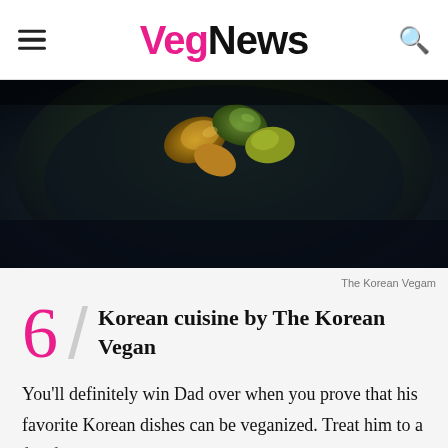VegNews
[Figure (photo): A dark bowl with Korean food, featuring cooked green and yellow vegetable pieces on a dark blue surface]
The Korean Vegam
6 / Korean cuisine by The Korean Vegan
You'll definitely win Dad over when you prove that his favorite Korean dishes can be veganized. Treat him to a full feast with these savory scallion pancakes, kimchi, tteobokki,